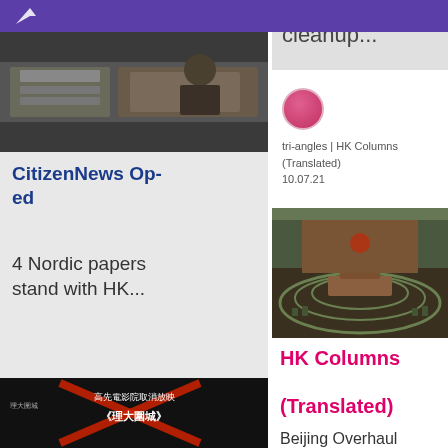[Figure (photo): Stacks of newspapers or documents being handled]
CitizenNews Op-ed
4 Nordic papers stand with HK...
[Figure (photo): Circular avatar with blue/purple gradient - tri-angles CitizenNews Op-ed]
tri-angles | CitizenNews Op-ed
02.07.21
[Figure (photo): Chinese text image: 高先電影院取消放映《理大圍城》]
cleanup...
[Figure (photo): Pink/red circular avatar - tri-angles HK Columns (Translated)]
tri-angles | HK Columns (Translated)
10.07.21
[Figure (photo): Hong Kong Legislative Council chamber interior]
HK Columns (Translated)
Beijing Overhaul